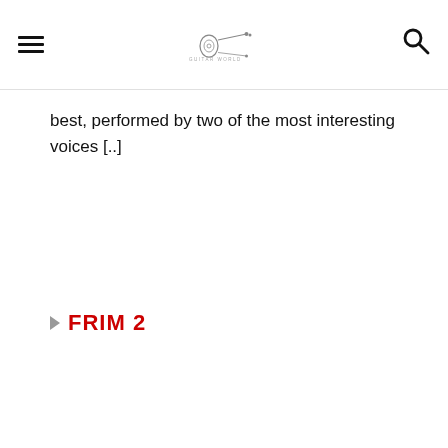≡ [logo] 🔍
best, performed by two of the most interesting voices [..]
FRIM 2